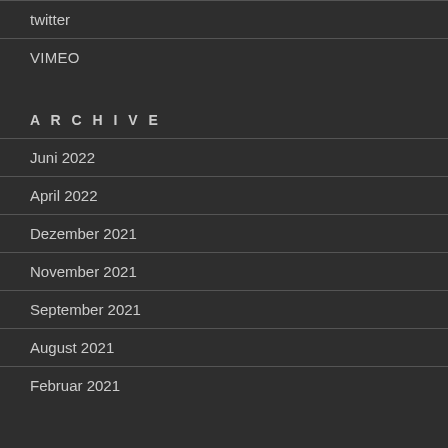twitter
VIMEO
ARCHIVE
Juni 2022
April 2022
Dezember 2021
November 2021
September 2021
August 2021
Februar 2021